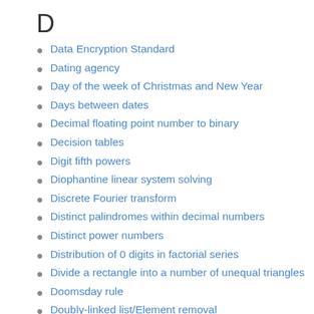D
Data Encryption Standard
Dating agency
Day of the week of Christmas and New Year
Days between dates
Decimal floating point number to binary
Decision tables
Digit fifth powers
Diophantine linear system solving
Discrete Fourier transform
Distinct palindromes within decimal numbers
Distinct power numbers
Distribution of 0 digits in factorial series
Divide a rectangle into a number of unequal triangles
Doomsday rule
Doubly-linked list/Element removal
Draw pixel 2
E
Elevator simulation
Engel expansion